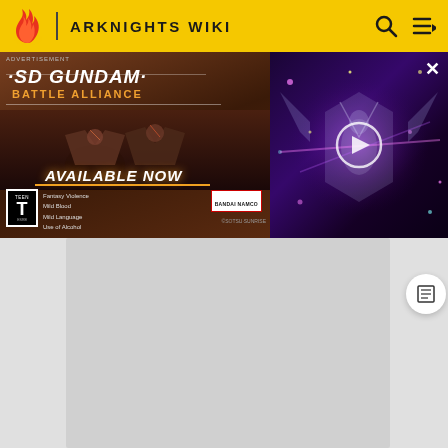Arknights Wiki
[Figure (screenshot): SD Gundam Battle Alliance advertisement banner showing Gundam robots with text 'AVAILABLE NOW', ESRB Teen rating, Bandai-Namco logo, and animated battle scene on right side]
[Figure (screenshot): Main content area of the Arknights Wiki page showing a light gray loading/content placeholder region with a table of contents button on the right side]